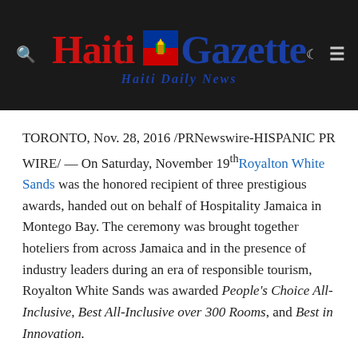Haiti Gazette — Haiti Daily News
TORONTO, Nov. 28, 2016 /PRNewswire-HISPANIC PR WIRE/ — On Saturday, November 19th Royalton White Sands was the honored recipient of three prestigious awards, handed out on behalf of Hospitality Jamaica in Montego Bay. The ceremony was brought together hoteliers from across Jamaica and in the presence of industry leaders during an era of responsible tourism, Royalton White Sands was awarded People's Choice All-Inclusive, Best All-Inclusive over 300 Rooms, and Best in Innovation.
(PHOTO: